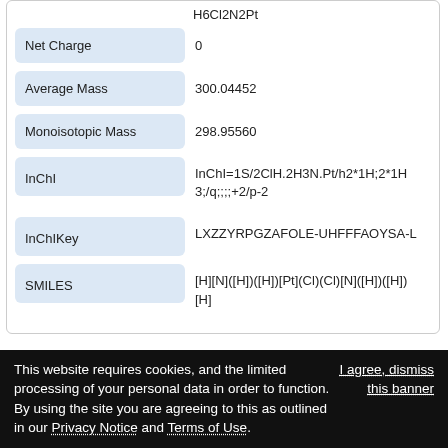| Property | Value |
| --- | --- |
|  | H6Cl2N2Pt |
| Net Charge | 0 |
| Average Mass | 300.04452 |
| Monoisotopic Mass | 298.95560 |
| InChI | InChI=1S/2ClH.2H3N.Pt/h2*1H;2*1H3;/q;;;;+2/p-2 |
| InChIKey | LXZZYRPGZAFOLE-UHFFFAOYSA-L |
| SMILES | [H][N]([H])([H])[Pt](Cl)(Cl)[N]([H])([H])[H] |
Biological Classification
This website requires cookies, and the limited processing of your personal data in order to function. By using the site you are agreeing to this as outlined in our Privacy Notice and Terms of Use.